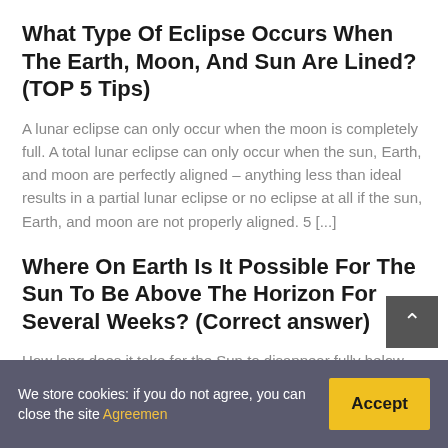What Type Of Eclipse Occurs When The Earth, Moon, And Sun Are Lined? (TOP 5 Tips)
A lunar eclipse can only occur when the moon is completely full. A total lunar eclipse can only occur when the sun, Earth, and moon are perfectly aligned – anything less than ideal results in a partial lunar eclipse or no eclipse at all if the sun, Earth, and moon are not properly aligned. 5 [...]
Where On Earth Is It Possible For The Sun To Be Above The Horizon For Several Weeks? (Correct answer)
How long does it take for the Sun to disappear fully below the horizon? The greatest durations of time when the Sun is fully below the horizon for places inside the polar circles...
We store cookies: if you do not agree, you can close the site Agreemen